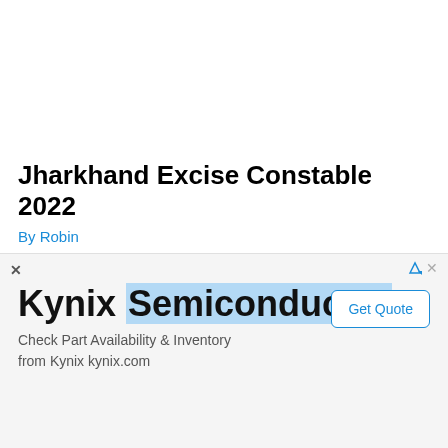Jharkhand Excise Constable 2022
By Robin
Jharkhand Excise Constable 2022 | JSSC Excise Constable 2022 Jharkhand …
[Figure (screenshot): Advertisement banner for Kynix Semiconductor with 'Get Quote' button. Text: 'Kynix Semiconductor — Check Part Availability & Inventory from Kynix kynix.com']